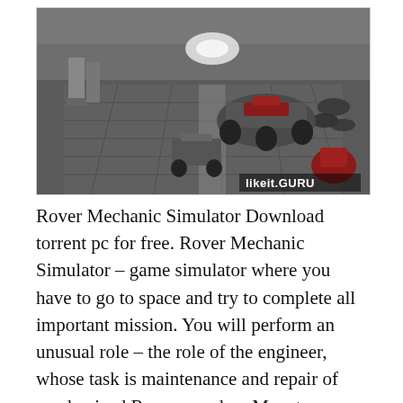[Figure (screenshot): Screenshot of Rover Mechanic Simulator game showing a garage/hangar with Mars rovers on a tiled floor, viewed from above at an angle. A 'likeit.GURU' watermark appears in the bottom right corner.]
Rover Mechanic Simulator Download torrent pc for free. Rover Mechanic Simulator – game simulator where you have to go to space and try to complete all important mission. You will perform an unusual role – the role of the engineer, whose task is maintenance and repair of mechanized Rovers used on Mars to explore. You have a rich Arsenal of tools with which you deftly handle even the toughest task. The red planet exploring the